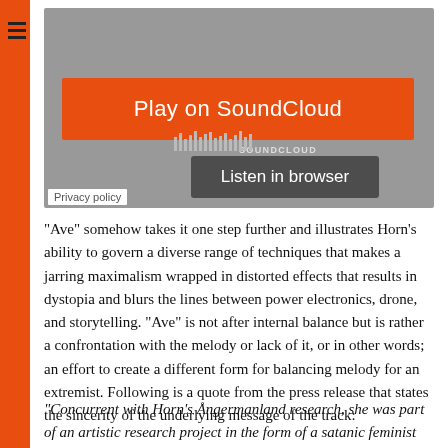[Figure (screenshot): SoundCloud embedded player widget with orange 'Play on SoundCloud' button and dark 'Listen in browser' button on grey background]
“Ave” somehow takes it one step further and illustrates Horn’s ability to govern a diverse range of techniques that makes a jarring maximalism wrapped in distorted effects that results in dystopia and blurs the lines between power electronics, drone, and storytelling. “Ave” is not after internal balance but is rather a confrontation with the melody or lack of it, or in other words; an effort to create a different form for balancing melody for an extremist. Following is a quote from the press release that states the sincerity of the underlying message of the track:
“Concurrent with Horn’s Ångermanland research, she was part of an artistic research project in the form of a satanic feminist...